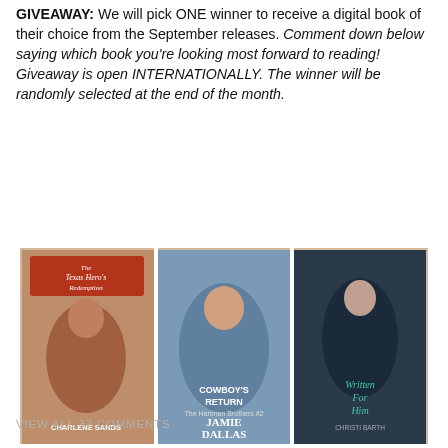GIVEAWAY: We will pick ONE winner to receive a digital book of their choice from the September releases. Comment down below saying which book you're looking most forward to reading! Giveaway is open INTERNATIONALLY. The winner will be randomly selected at the end of the month.
[Figure (photo): A collage of six romance book covers arranged in a 2x3 grid: The Texas Hero's Redemption by Charlene Sands, Cowboy's Return by Jamie Dallas, Written For Him by Christi Barth, Letters From Grace by CJ Carmichael, Sheriff and the Cowgirl by Debra Holt, and Romance in the Outback by Nicole Flockton.]
Continue reading →
VIEW ALL 37 COMMENTS